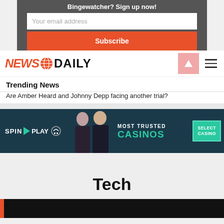Bingewatcher? Sign up now!
Your email address
Subscribe
[Figure (logo): NEWS DAILY logo with globe icon]
Trending News
Are Amber Heard and Johnny Depp facing another trial?
[Figure (infographic): SPIN PLAY advertisement banner - Most Trusted Casinos - Select Casino]
Tech